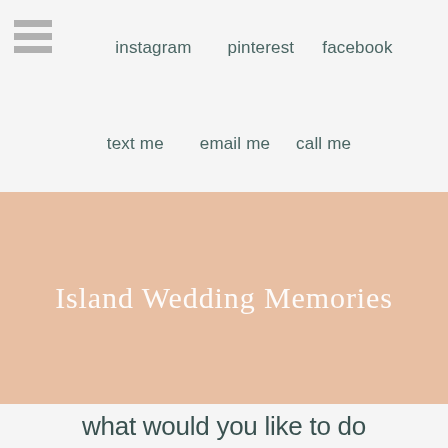instagram   pinterest   facebook
text me   email me   call me
[Figure (logo): Island Wedding Memories brand logo text in white cursive script on peach/salmon colored background]
what would you like to do